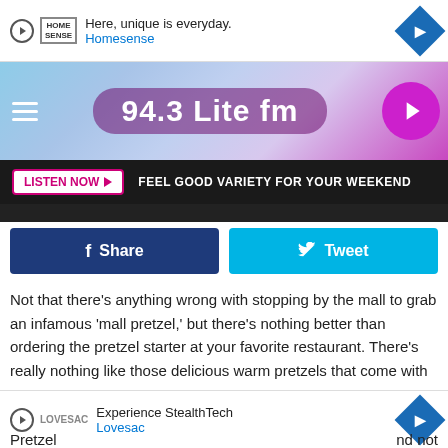[Figure (screenshot): Homesense advertisement banner: play icon, HomeSense logo, 'Here, unique is everyday.' text, 'Homesense' link, blue diamond arrow icon]
[Figure (screenshot): 94.3 Lite fm radio station header with gradient background, hamburger menu, station name, and purple play button]
[Figure (screenshot): Dark bar with white 'LISTEN NOW' button and text: FEEL GOOD VARIETY FOR YOUR WEEKEND]
[Figure (screenshot): Social sharing buttons: blue Facebook Share button and cyan Twitter Tweet button]
Not that there's anything wrong with stopping by the mall to grab an infamous 'mall pretzel,' but there's nothing better than ordering the pretzel starter at your favorite restaurant. There's really nothing like those delicious warm pretzels that come with cheese. More and more lately, I've been noticing that pretzels are becoming a popular appetizer and snack item on menus all across the Hudson Valley.
[Figure (screenshot): Lovesac advertisement banner: 'Experience StealthTech', 'Lovesac' link, blue diamond arrow icon]
Pretzel … nd not